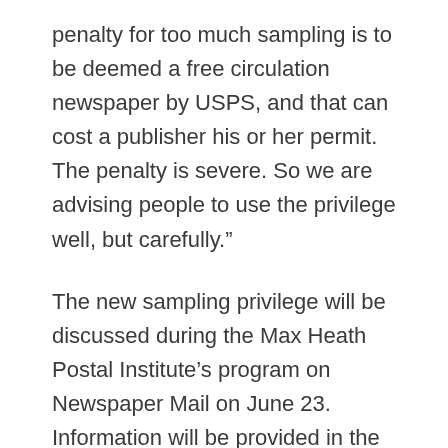penalty for too much sampling is to be deemed a free circulation newspaper by USPS, and that can cost a publisher his or her permit. The penalty is severe. So we are advising people to use the privilege well, but carefully.”
The new sampling privilege will be discussed during the Max Heath Postal Institute’s program on Newspaper Mail on June 23. Information will be provided in the coming week.
MHPI programs are sponsored by the NNA